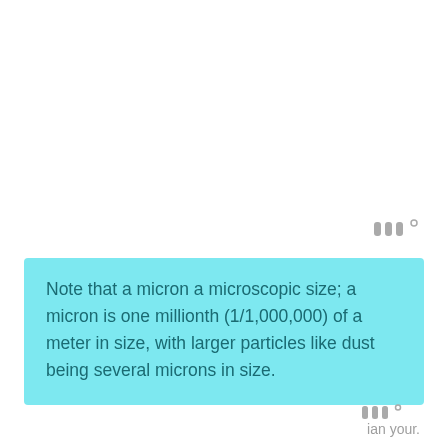[Figure (logo): Small logo with stylized 'W' or triple bars and degree symbol, gray color, top right area]
Note that a micron a microscopic size; a micron is one millionth (1/1,000,000) of a meter in size, with larger particles like dust being several microns in size.
While not mandatory in the industry, it’s often used by better air purifier manufacturers to provide buyers with a way to choose the best air purifier based on proven nu... The higher the
[Figure (logo): Small logo with stylized 'W' or triple bars and degree symbol, gray color, bottom right area]
ian your.